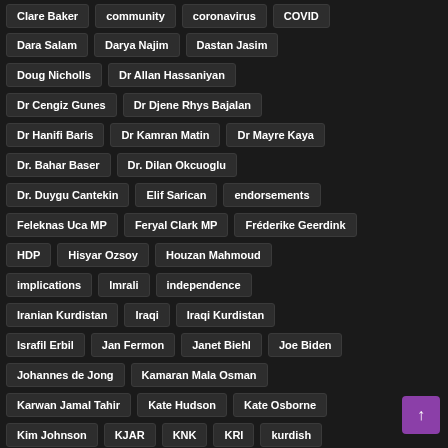Clare Baker
community
coronavirus
COVID
Dara Salam
Darya Najim
Dastan Jasim
Doug Nicholls
Dr Allan Hassaniyan
Dr Cengiz Gunes
Dr Djene Rhys Bajalan
Dr Hanifi Baris
Dr Kamran Matin
Dr Mayre Kaya
Dr. Bahar Baser
Dr. Dilan Okcuoglu
Dr. Duygu Cantekin
Elif Sarican
endorsements
Feleknas Uca MP
Feryal Clark MP
Fréderike Geerdink
HDP
Hisyar Ozsoy
Houzan Mahmoud
implications
Imrali
independence
Iranian Kurdistan
Iraqi
Iraqi Kurdistan
Israfil Erbil
Jan Fermon
Janet Biehl
Joe Biden
Johannes de Jong
Kamaran Mala Osman
Karwan Jamal Tahir
Kate Hudson
Kate Osborne
Kim Johnson
KJAR
KNK
KRI
kurdish